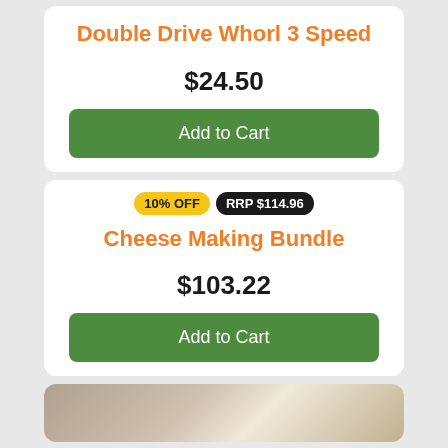Double Drive Whorl 3 Speed
$24.50
Add to Cart
10% OFF
RRP $114.96
Cheese Making Bundle
$103.22
Add to Cart
[Figure (photo): Partial photo of hands holding a small wooden item, visible at bottom of page]